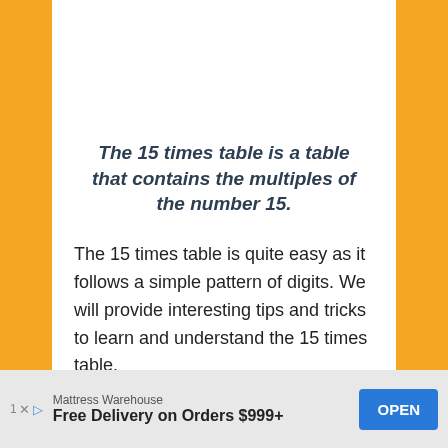The 15 times table is a table that contains the multiples of the number 15.
The 15 times table is quite easy as it follows a simple pattern of digits. We will provide interesting tips and tricks to learn and understand the 15 times table.
You should refresh the following concepts to understand the material discussed here.
[Figure (other): Advertisement banner: Mattress Warehouse - Free Delivery on Orders $999+ with an OPEN button]